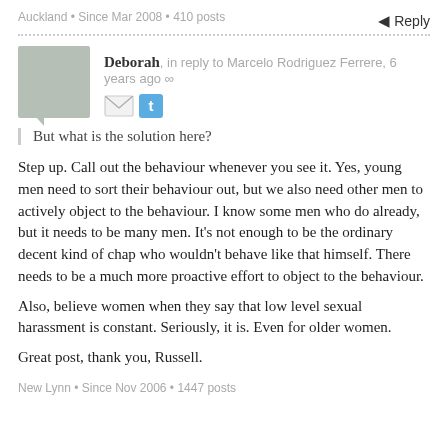Auckland • Since Mar 2008 • 410 posts
↵ Reply
Deborah, in reply to Marcelo Rodriguez Ferrere, 6 years ago ∞
But what is the solution here?
Step up. Call out the behaviour whenever you see it. Yes, young men need to sort their behaviour out, but we also need other men to actively object to the behaviour. I know some men who do already, but it needs to be many men. It's not enough to be the ordinary decent kind of chap who wouldn't behave like that himself. There needs to be a much more proactive effort to object to the behaviour.
Also, believe women when they say that low level sexual harassment is constant. Seriously, it is. Even for older women.
Great post, thank you, Russell.
New Lynn • Since Nov 2006 • 1447 posts